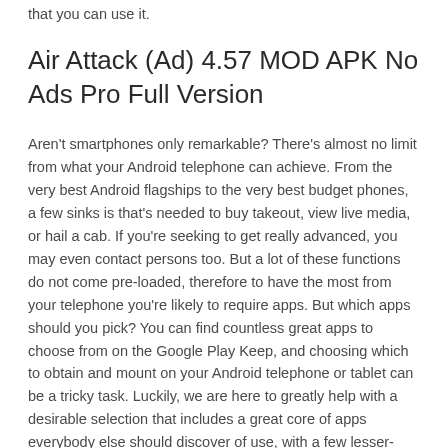that you can use it.
Air Attack (Ad) 4.57 MOD APK No Ads Pro Full Version
Aren't smartphones only remarkable? There's almost no limit from what your Android telephone can achieve. From the very best Android flagships to the very best budget phones, a few sinks is that's needed to buy takeout, view live media, or hail a cab. If you're seeking to get really advanced, you may even contact persons too. But a lot of these functions do not come pre-loaded, therefore to have the most from your telephone you're likely to require apps. But which apps should you pick? You can find countless great apps to choose from on the Google Play Keep, and choosing which to obtain and mount on your Android telephone or tablet can be a tricky task. Luckily, we are here to greatly help with a desirable selection that includes a great core of apps everybody else should discover of use, with a few lesser-known apps that you may want to decide to try out. You will find 100 apps in all, efficiently divided in to different categories for your consideration.
If you're an iPhone sweetheart instead, then take a look at our list of